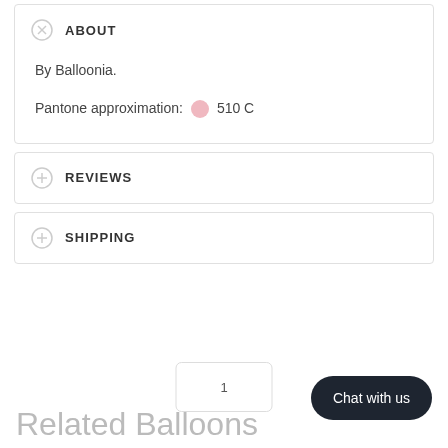ABOUT
By Balloonia.
Pantone approximation: 510 C
REVIEWS
SHIPPING
Related Balloons
1
Chat with us